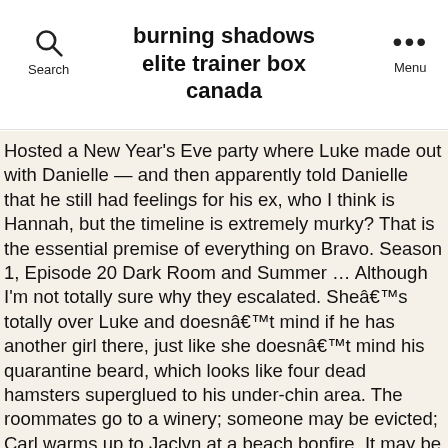burning shadows elite trainer box canada
Hosted a New Year's Eve party where Luke made out with Danielle — and then apparently told Danielle that he still had feelings for his ex, who I think is Hannah, but the timeline is extremely murky? That is the essential premise of everything on Bravo. Season 1, Episode 20 Dark Room and Summer … Although I'm not totally sure why they escalated. Sheâs totally over Luke and doesnât mind if he has another girl there, just like she doesnât mind his quarantine beard, which looks like four dead hamsters superglued to his under-chin area. The roommates go to a winery; someone may be evicted; Carl warms up to Jaclyn at a beach bonfire. It may be hard to pick her out of the ceiling fan, though, because, well, Steven is short. She apologizes for it, but maybe Lindsay should make herself a little less easy to parody. 56:05. I would like to see him in a competition for Shortest Man on Television alongside Ryan Seacrest, those jacked real-estate twins